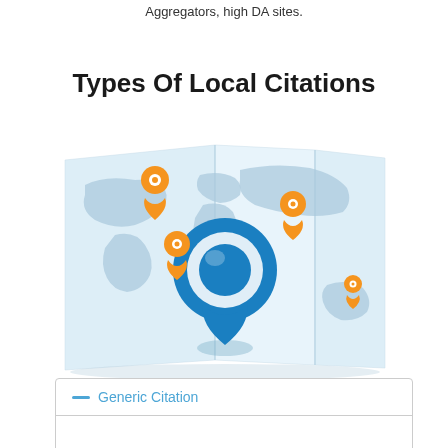Aggregators, high DA sites.
Types Of Local Citations
[Figure (illustration): A folded world map illustration with a large blue location pin in the center and three smaller orange location pins placed around it, representing local citation locations globally.]
— Generic Citation